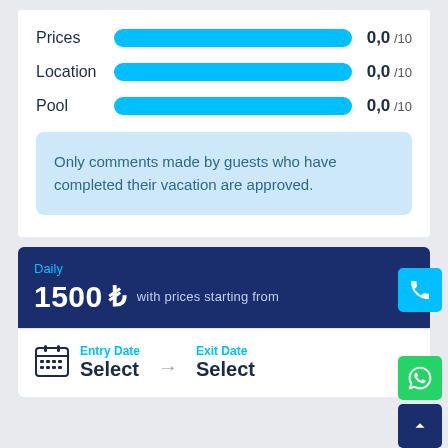[Figure (infographic): Ratings bar chart showing Prices, Location, Pool each with full blue bar and score 0,0/10]
Only comments made by guests who have completed their vacation are approved.
Daily
1500 ₺ with prices starting from
Entry Date
Select
Exit Date
Select